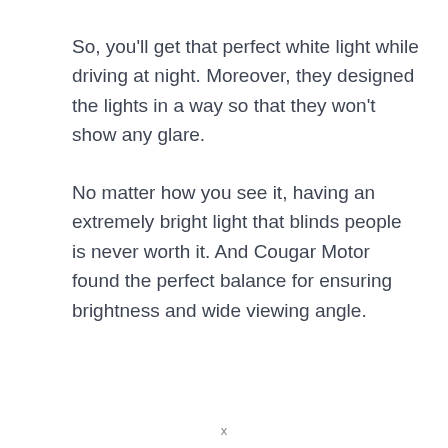So, you'll get that perfect white light while driving at night. Moreover, they designed the lights in a way so that they won't show any glare.
No matter how you see it, having an extremely bright light that blinds people is never worth it. And Cougar Motor found the perfect balance for ensuring brightness and wide viewing angle.
x